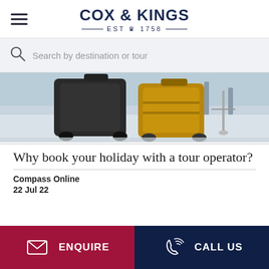COX & KINGS — EST ♛ 1758 —
Search by destination or tour
[Figure (photo): Photo of luggage including a dark suitcase and a gold/yellow suitcase being wheeled through an airport terminal]
Why book your holiday with a tour operator?
Compass Online
22 Jul 22
ENQUIRE
CALL US